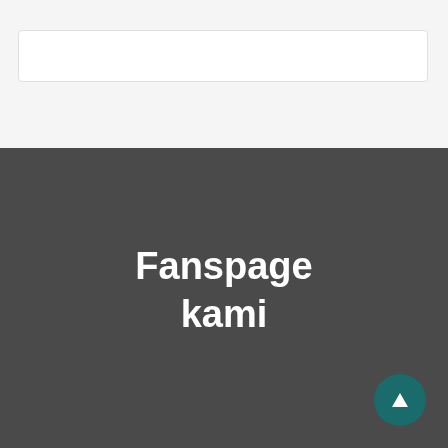[Figure (screenshot): Search bar input field on a light gray background]
Fanspage kami
[Figure (other): Circular teal scroll-to-top button with upward arrow icon]